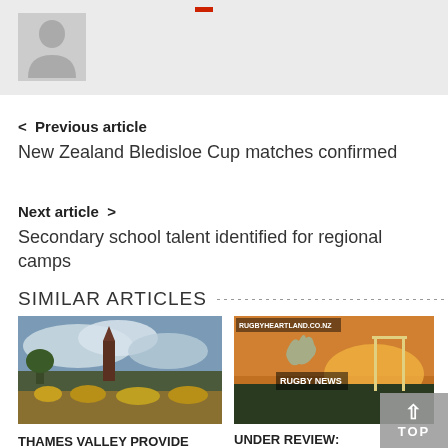[Figure (photo): User profile avatar placeholder with grey silhouette and red icon above]
< Previous article
New Zealand Bledisloe Cup matches confirmed
Next article >
Secondary school talent identified for regional camps
SIMILAR ARTICLES
[Figure (photo): Outdoor group photo of rugby players in yellow and black uniforms gathered in front of a church/city building under cloudy sky]
THAMES VALLEY PROVIDE HEARTLAND UPSET
[Figure (photo): Rugbyheartland.co.nz Rugby News card image with New Zealand map silhouette and rugby posts at sunset]
UNDER REVIEW: WELLINGTON UNION LOOKS WITHIN
October 4, 2014  👁 124